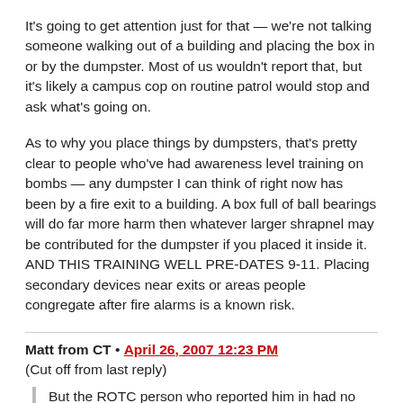It's going to get attention just for that — we're not talking someone walking out of a building and placing the box in or by the dumpster. Most of us wouldn't report that, but it's likely a campus cop on routine patrol would stop and ask what's going on.
As to why you place things by dumpsters, that's pretty clear to people who've had awareness level training on bombs — any dumpster I can think of right now has been by a fire exit to a building. A box full of ball bearings will do far more harm then whatever larger shrapnel may be contributed for the dumpster if you placed it inside it. AND THIS TRAINING WELL PRE-DATES 9-11. Placing secondary devices near exits or areas people congregate after fire alarms is a known risk.
Matt from CT • April 26, 2007 12:23 PM
(Cut off from last reply)
But the ROTC person who reported him in had no proof either, except his